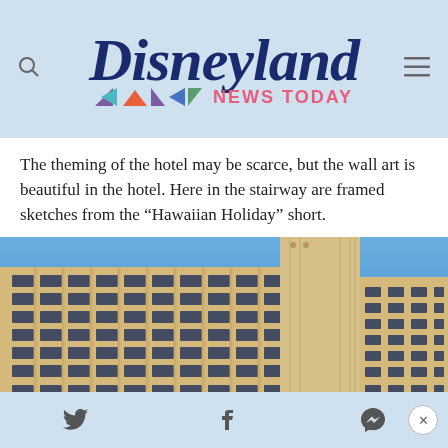[Figure (logo): Disneyland News Today logo with dark blue italic serif 'Disneyland' text and colorful triangle motifs with pink 'NEWS TODAY' subtitle]
The theming of the hotel may be scarce, but the wall art is beautiful in the hotel. Here in the stairway are framed sketches from the “Hawaiian Holiday” short.
[Figure (photo): Exterior photo of a large multi-story hotel building with beige/tan facade, grid of windows, and a tall central tower against a blue sky]
Share buttons: Twitter, Facebook, Messenger; close button